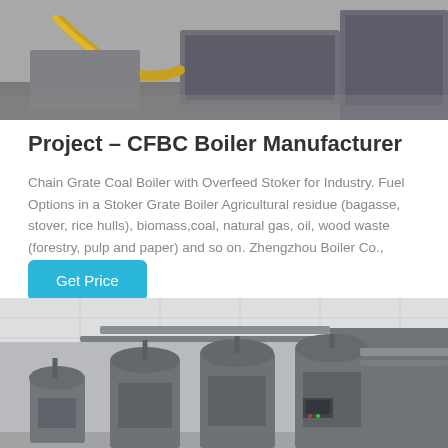[Figure (photo): Industrial boiler equipment photograph showing machinery with a yellow hose/tube and metal casings in a workshop setting]
Project – CFBC Boiler Manufacturer
Chain Grate Coal Boiler with Overfeed Stoker for Industry. Fuel Options in a Stoker Grate Boiler Agricultural residue (bagasse, stover, rice hulls), biomass,coal, natural gas, oil, wood waste (forestry, pulp and paper) and so on. Zhengzhou Boiler Co., Ltd....
Get Price
[Figure (photo): Industrial facility interior showing multiple large cylindrical industrial boiler/pump units with piping systems and control panels in a clean white-ceiling room]